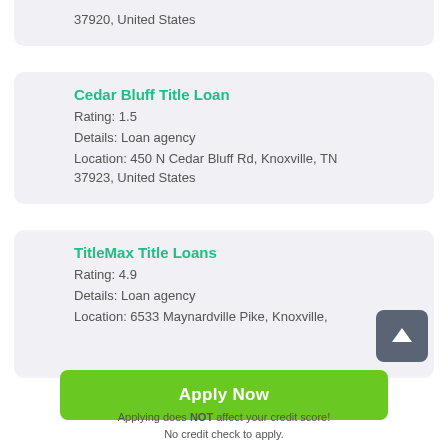37920, United States
Cedar Bluff Title Loan
Rating: 1.5
Details: Loan agency
Location: 450 N Cedar Bluff Rd, Knoxville, TN 37923, United States
TitleMax Title Loans
Rating: 4.9
Details: Loan agency
Location: 6533 Maynardville Pike, Knoxville,
Apply Now
Applying does NOT affect your credit score!
No credit check to apply.